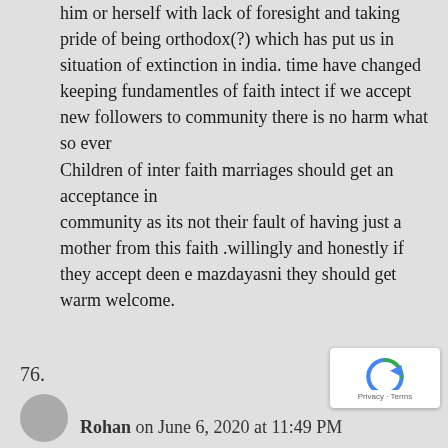him or herself with lack of foresight and taking pride of being orthodox(?) which has put us in situation of extinction in india. time have changed keeping fundamentles of faith intect if we accept new followers to community there is no harm what so ever Children of inter faith marriages should get an acceptance in community as its not their fault of having just a mother from this faith .willingly and honestly if they accept deen e mazdayasni they should get warm welcome.
76.
Rohan on June 6, 2020 at 11:49 PM